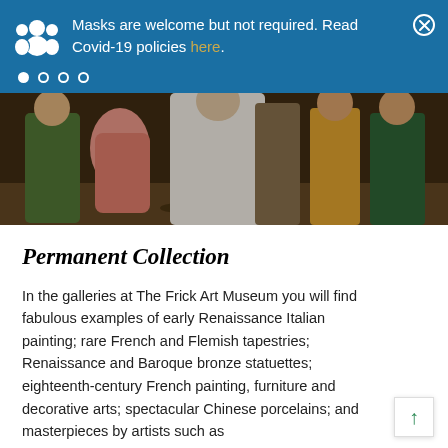Masks are welcome but not required. Read Covid-19 policies here.
[Figure (photo): Fragment of a classical painting showing figures in period dress, partially cropped at top]
Permanent Collection
In the galleries at The Frick Art Museum you will find fabulous examples of early Renaissance Italian painting; rare French and Flemish tapestries; Renaissance and Baroque bronze statuettes; eighteenth-century French painting, furniture and decorative arts; spectacular Chinese porcelains; and masterpieces by artists such as